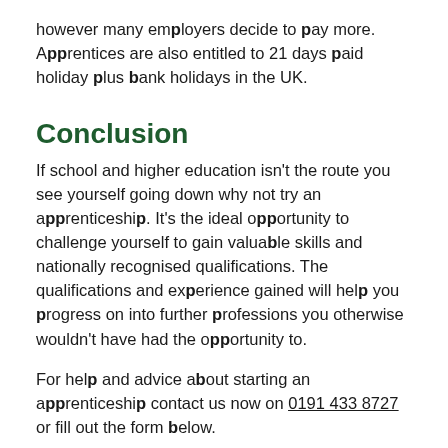however many employers decide to pay more. Apprentices are also entitled to 21 days paid holiday plus bank holidays in the UK.
Conclusion
If school and higher education isn't the route you see yourself going down why not try an apprenticeship. It's the ideal opportunity to challenge yourself to gain valuable skills and nationally recognised qualifications. The qualifications and experience gained will help you progress on into further professions you otherwise wouldn't have had the opportunity to.
For help and advice about starting an apprenticeship contact us now on 0191 433 8727 or fill out the form below.